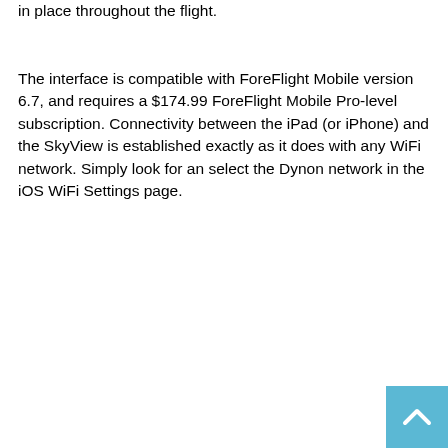in place throughout the flight.
The interface is compatible with ForeFlight Mobile version 6.7, and requires a $174.99 ForeFlight Mobile Pro-level subscription. Connectivity between the iPad (or iPhone) and the SkyView is established exactly as it does with any WiFi network. Simply look for an select the Dynon network in the iOS WiFi Settings page.